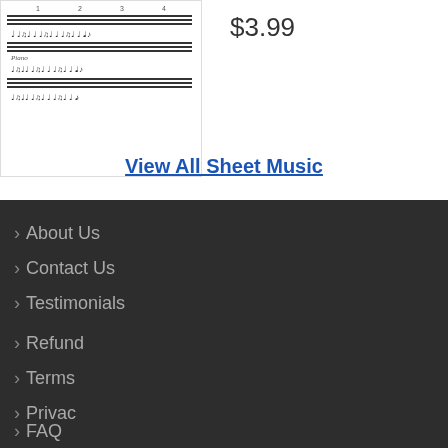[Figure (illustration): Sheet music notation preview showing musical staff lines with notes]
$3.99
View All Sheet Music
About Us
Contact Us
Testimonials
Refund
Terms
Privacy
FAQ
Earn Reward Points for your purchase and cash them in for free sheet music. Login or Register
Powered by Nudgify